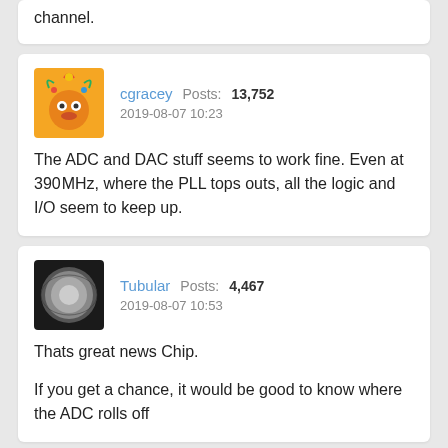channel.
cgracey  Posts: 13,752
2019-08-07 10:23
The ADC and DAC stuff seems to work fine. Even at 390MHz, where the PLL tops outs, all the logic and I/O seem to keep up.
Tubular  Posts: 4,467
2019-08-07 10:53
Thats great news Chip.

If you get a chance, it would be good to know where the ADC rolls off